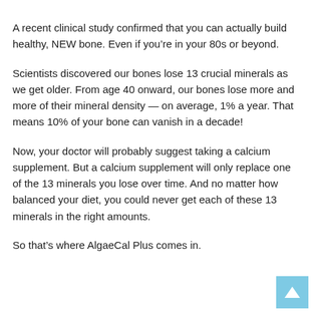A recent clinical study confirmed that you can actually build healthy, NEW bone. Even if you’re in your 80s or beyond.
Scientists discovered our bones lose 13 crucial minerals as we get older. From age 40 onward, our bones lose more and more of their mineral density — on average, 1% a year. That means 10% of your bone can vanish in a decade!
Now, your doctor will probably suggest taking a calcium supplement. But a calcium supplement will only replace one of the 13 minerals you lose over time. And no matter how balanced your diet, you could never get each of these 13 minerals in the right amounts.
So that’s where AlgaeCal Plus comes in.